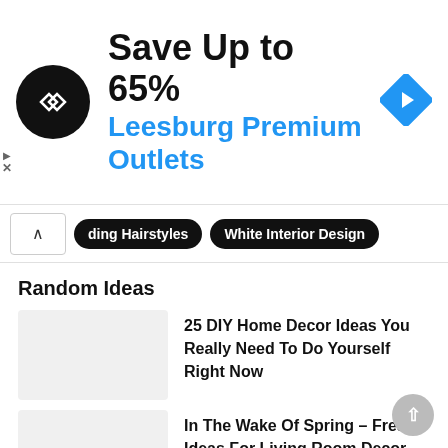[Figure (infographic): Advertisement banner: Save Up to 65% Leesburg Premium Outlets with circular black logo and blue diamond navigation icon]
ding Hairstyles   White Interior Design
Random Ideas
25 DIY Home Decor Ideas You Really Need To Do Yourself Right Now
In The Wake Of Spring – Fresh Ideas For Living Room Decor
15 Great Modern Bathroom Designs For Small Spaces